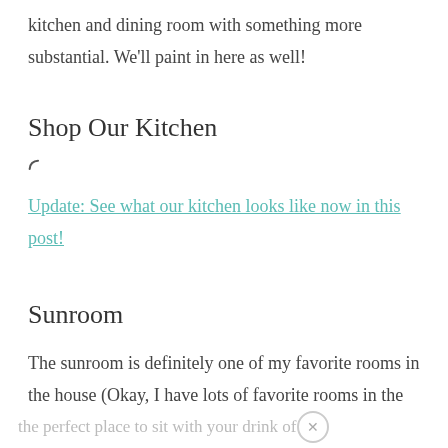kitchen and dining room with something more substantial. We'll paint in here as well!
Shop Our Kitchen
[Figure (other): Loading spinner icon]
Update: See what our kitchen looks like now in this post!
Sunroom
The sunroom is definitely one of my favorite rooms in the house (Okay, I have lots of favorite rooms in the house!) because it is
the perfect place to sit with your drink of